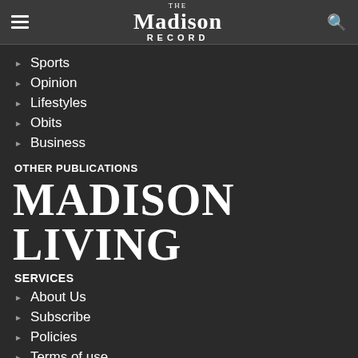The Madison Record
Sports
Opinion
Lifestyles
Obits
Business
OTHER PUBLICATIONS
MADISON LIVING
SERVICES
About Us
Subscribe
Policies
Terms of use
Submit a news tip
Submit a photo
Birth announcement
Birthday announcement
Engagement announcement